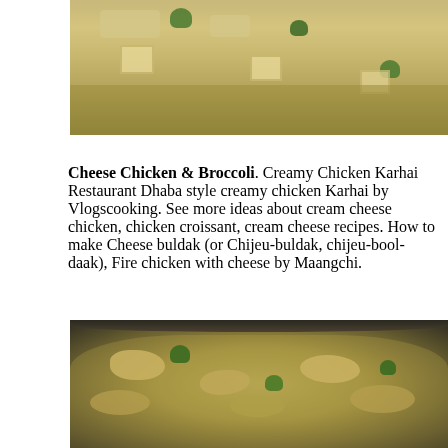[Figure (photo): Top portion of a pan/karhai filled with creamy cheese chicken and broccoli dish with pasta pieces in a yellow-cream sauce]
Cheese Chicken & Broccoli. Creamy Chicken Karhai Restaurant Dhaba style creamy chicken Karhai by Vlogscooking. See more ideas about cream cheese chicken, chicken croissant, cream cheese recipes. How to make Cheese buldak (or Chijeu-buldak, chijeu-bool-daak), Fire chicken with cheese by Maangchi.
[Figure (photo): Bottom portion showing a dark pan/karhai with creamy chicken and broccoli dish in a golden-yellow sauce]